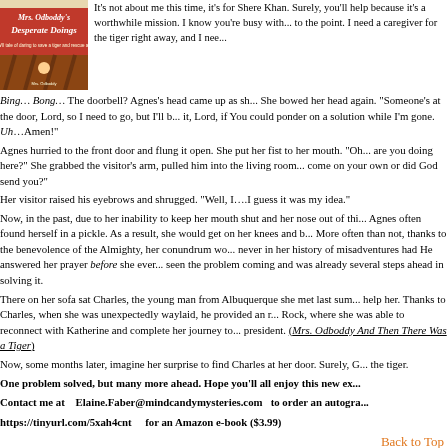[Figure (illustration): Book cover for Mrs. Odboddy's Desperate Doings, a WWII tale of daring to save a tiger and rescue a child]
It's not about me this time, it's for Shere Khan. Surely, you'll help because it's a worthwhile mission. I know you're busy with... to the point. I need a caregiver for the tiger right away, and I nee...
Bing… Bong… The doorbell? Agnes's head came up as sh... She bowed her head again. "Someone's at the door, Lord, so I need to go, but I'll b... it, Lord, if You could ponder on a solution while I'm gone. Uh…Amen!"
Agnes hurried to the front door and flung it open. She put her fist to her mouth. "Oh... are you doing here?" She grabbed the visitor's arm, pulled him into the living room... come on your own or did God send you?"
Her visitor raised his eyebrows and shrugged. "Well, I….I guess it was my idea."
Now, in the past, due to her inability to keep her mouth shut and her nose out of thi... Agnes often found herself in a pickle. As a result, she would get on her knees and b... More often than not, thanks to the benevolence of the Almighty, her conundrum wo... never in her history of misadventures had He answered her prayer before she ever... seen the problem coming and was already several steps ahead in solving it.
There on her sofa sat Charles, the young man from Albuquerque she met last sum... help her. Thanks to Charles, when she was unexpectedly waylaid, he provided an r... Rock, where she was able to reconnect with Katherine and complete her journey to... president. (Mrs. Odboddy And Then There Was a Tiger)
Now, some months later, imagine her surprise to find Charles at her door. Surely, G... the tiger.
One problem solved, but many more ahead. Hope you'll all enjoy this new ex...
Contact me at   Elaine.Faber@mindcandymysteries.com   to order an autogra...
https://tinyurl.com/5xah4cnt    for an Amazon e-book ($3.99)
Back to Top